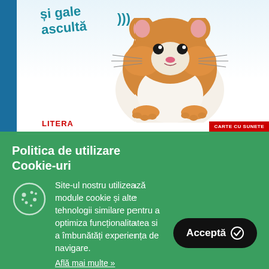[Figure (photo): Top portion of a children's book cover showing a hamster, with teal italic text reading 'și gale ascultă )))' and the publisher name LITERA in red at the bottom left, and a red badge bottom right reading 'CARTE CU SUNETE']
Politica de utilizare Cookie-uri
Site-ul nostru utilizează module cookie și alte tehnologii similare pentru a optimiza funcționalitatea si a îmbunătăți experiența de navigare.
Află mai multe »